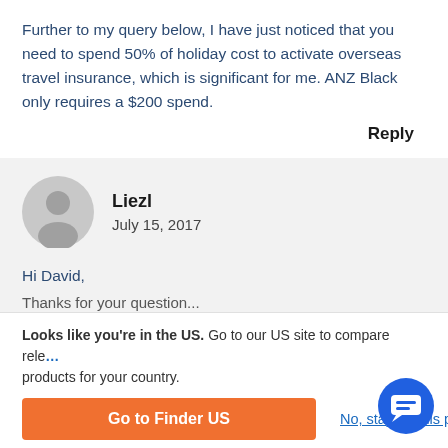Further to my query below, I have just noticed that you need to spend 50% of holiday cost to activate overseas travel insurance, which is significant for me. ANZ Black only requires a $200 spend.
Reply
Liezl
July 15, 2017
Hi David,
Looks like you're in the US. Go to our US site to compare relevant products for your country.
Go to Finder US
No, stay on this page